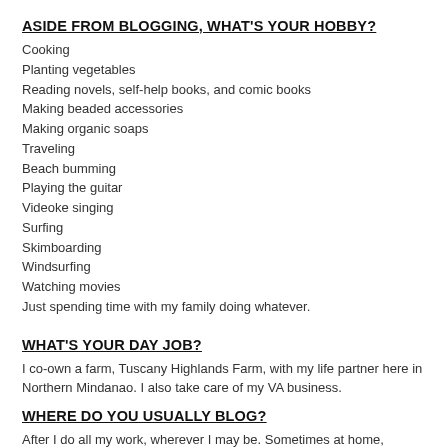ASIDE FROM BLOGGING, WHAT'S YOUR HOBBY?
Cooking
Planting vegetables
Reading novels, self-help books, and comic books
Making beaded accessories
Making organic soaps
Traveling
Beach bumming
Playing the guitar
Videoke singing
Surfing
Skimboarding
Windsurfing
Watching movies
Just spending time with my family doing whatever.
WHAT'S YOUR DAY JOB?
I co-own a farm, Tuscany Highlands Farm, with my life partner here in Northern Mindanao. I also take care of my VA business.
WHERE DO YOU USUALLY BLOG?
After I do all my work, wherever I may be. Sometimes at home, sometimes at the farm, on the beach, sometimes in a  hotel room. It depends on where I am currently working.